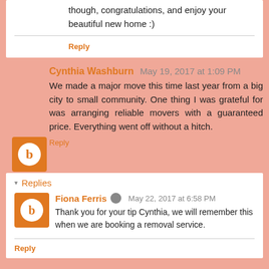though, congratulations, and enjoy your beautiful new home :)
Reply
Cynthia Washburn May 19, 2017 at 1:09 PM
We made a major move this time last year from a big city to small community. One thing I was grateful for was arranging reliable movers with a guaranteed price. Everything went off without a hitch.
Reply
Replies
Fiona Ferris May 22, 2017 at 6:58 PM
Thank you for your tip Cynthia, we will remember this when we are booking a removal service.
Reply